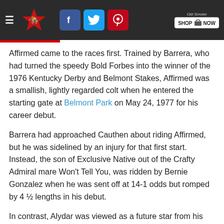Navigation bar with logo, social icons (Facebook, Twitter, Pinterest), and Old Smoke Shop Now button
Affirmed came to the races first. Trained by Barrera, who had turned the speedy Bold Forbes into the winner of the 1976 Kentucky Derby and Belmont Stakes, Affirmed was a smallish, lightly regarded colt when he entered the starting gate at Belmont Park on May 24, 1977 for his career debut.
Barrera had approached Cauthen about riding Affirmed, but he was sidelined by an injury for that first start. Instead, the son of Exclusive Native out of the Crafty Admiral mare Won't Tell You, was ridden by Bernie Gonzalez when he was sent off at 14-1 odds but romped by 4 ½ lengths in his debut.
In contrast, Alydar was viewed as a future star from his earliest days.
When Veitch was named as Calumet's trainer at the age of 30